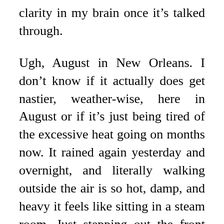clarity in my brain once it’s talked through.
Ugh, August in New Orleans. I don’t know if it actually does get nastier, weather-wise, here in August or if it’s just being tired of the excessive heat going on months now. It rained again yesterday and overnight, and literally walking outside the air is so hot, damp, and heavy it feels like sitting in a steam room. Just stepping out the front door sucks the energy and spirit right out of you. I did manage to run my errands yesterday successfully–I skipped a couple of the errands, like returning the library books and